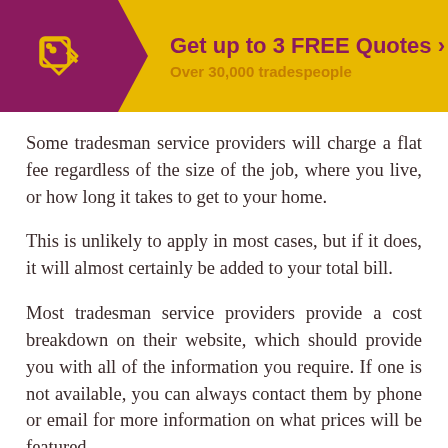[Figure (infographic): Yellow banner with purple left section containing a tag icon and arrow chevron. Text reads 'Get up to 3 FREE Quotes >' and 'Over 30,000 tradespeople']
Some tradesman service providers will charge a flat fee regardless of the size of the job, where you live, or how long it takes to get to your home.
This is unlikely to apply in most cases, but if it does, it will almost certainly be added to your total bill.
Most tradesman service providers provide a cost breakdown on their website, which should provide you with all of the information you require. If one is not available, you can always contact them by phone or email for more information on what prices will be featured.